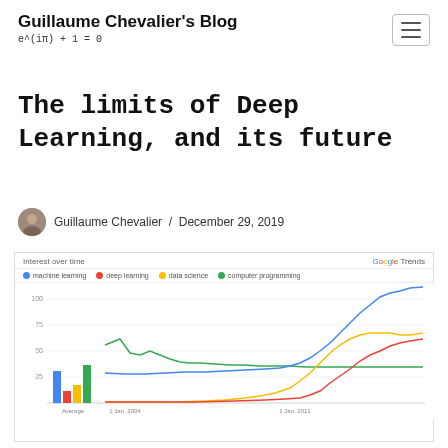Guillaume Chevalier's Blog
e^(iπ) + 1 = 0
The limits of Deep Learning, and its future
Guillaume Chevalier / December 29, 2019
[Figure (continuous-plot): Google Trends line chart showing 'Interest over time' for machine learning (blue), deep learning (red), data science (yellow), and computer programming (green) from approximately 2004 to 2019. All lines show growth, with machine learning reaching 100 at the end.]